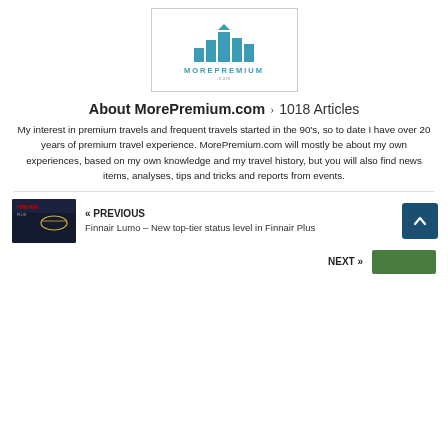[Figure (logo): MorePremium.com logo with teal building/skyline icon above the text MOREPREMIUM .com]
About MorePremium.com › 1018 Articles
My interest in premium travels and frequent travels started in the 90's, so to date I have over 20 years of premium travel experience. MorePremium.com will mostly be about my own experiences, based on my own knowledge and my travel history, but you will also find news items, analyses, tips and tricks and reports from events.
[Figure (photo): Thumbnail of Finnair Plus card on dark background]
« PREVIOUS
Finnair Lumo – New top-tier status level in Finnair Plus
NEXT »